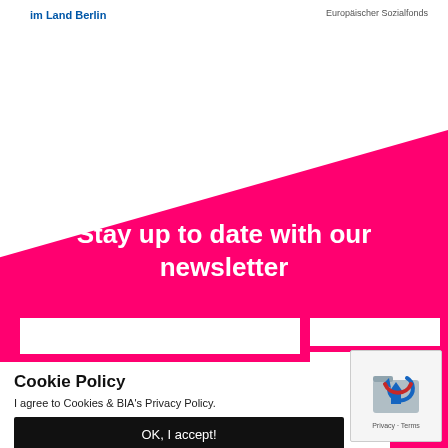im Land Berlin
Europäischer Sozialfonds
Stay up to date with our newsletter
Cookie Policy
I agree to Cookies & BIA's Privacy Policy.
OK, I accept!